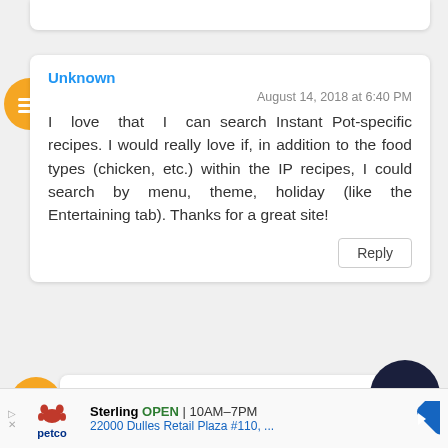Unknown
August 14, 2018 at 6:40 PM
I love that I can search Instant Pot-specific recipes. I would really love if, in addition to the food types (chicken, etc.) within the IP recipes, I could search by menu, theme, holiday (like the Entertaining tab). Thanks for a great site!
Reply
What's Cookin Chicago
August 14, 2018 at 6:47 PM
Thanks for
Sterling OPEN | 10AM–7PM
22000 Dulles Retail Plaza #110, ...